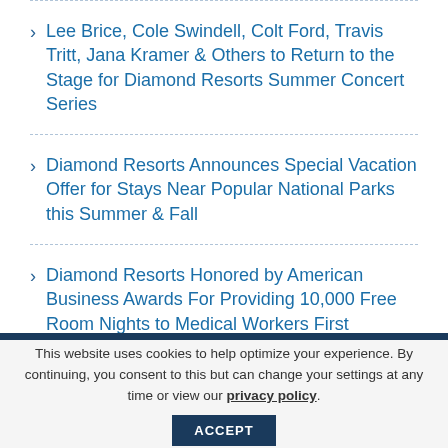Lee Brice, Cole Swindell, Colt Ford, Travis Tritt, Jana Kramer & Others to Return to the Stage for Diamond Resorts Summer Concert Series
Diamond Resorts Announces Special Vacation Offer for Stays Near Popular National Parks this Summer & Fall
Diamond Resorts Honored by American Business Awards For Providing 10,000 Free Room Nights to Medical Workers First Responders
This website uses cookies to help optimize your experience. By continuing, you consent to this but can change your settings at any time or view our privacy policy.